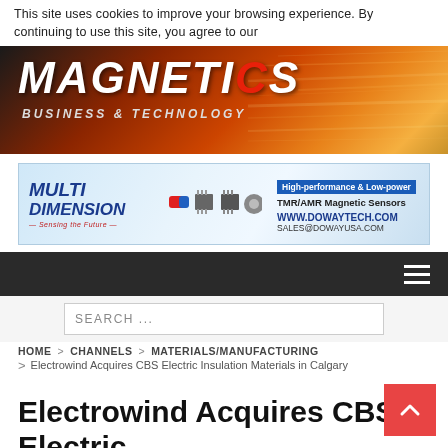This site uses cookies to improve your browsing experience. By continuing to use this site, you agree to our
[Figure (logo): Magnetics Business & Technology website header banner with orange/red gradient background and white bold italic MAGNETICS text]
[Figure (infographic): Multi Dimension advertisement banner: High-performance & Low-power TMR/AMR Magnetic Sensors, WWW.DOWAYTECH.COM, SALES@DOWAYUSA.COM]
[Figure (screenshot): Dark navigation bar with hamburger menu icon]
SEARCH ...
HOME > CHANNELS > MATERIALS/MANUFACTURING > Electrowind Acquires CBS Electric Insulation Materials in Calgary
Electrowind Acquires CBS Electric